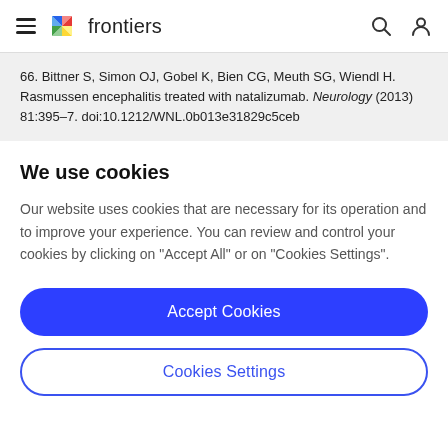frontiers
66. Bittner S, Simon OJ, Gobel K, Bien CG, Meuth SG, Wiendl H. Rasmussen encephalitis treated with natalizumab. Neurology (2013) 81:395–7. doi:10.1212/WNL.0b013e31829c5ceb
We use cookies
Our website uses cookies that are necessary for its operation and to improve your experience. You can review and control your cookies by clicking on "Accept All" or on "Cookies Settings".
Accept Cookies
Cookies Settings